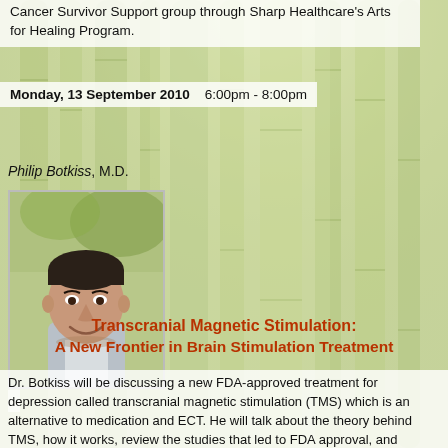Cancer Survivor Support group through Sharp Healthcare's Arts for Healing Program.
Monday, 13 September 2010    6:00pm - 8:00pm
Philip Botkiss, M.D.
[Figure (photo): Headshot photo of Philip Botkiss, M.D., a middle-aged man with dark hair, smiling, wearing a light-colored shirt, outdoors.]
Transcranial Magnetic Stimulation: A New Frontier in Brain Stimulation Treatment
Dr. Botkiss will be discussing a new FDA-approved treatment for depression called transcranial magnetic stimulation (TMS) which is an alternative to medication and ECT. He will talk about the theory behind TMS, how it works, review the studies that led to FDA approval, and discuss where TMS fits into a treatment plan for management of